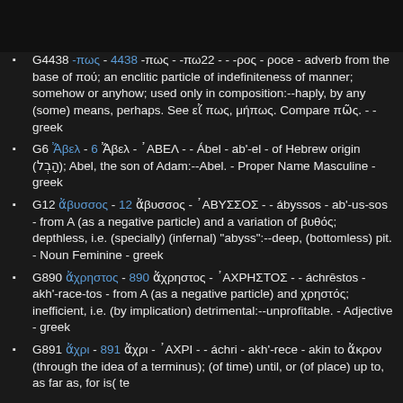G4438 -πως - 4438 -πως - -πω22 - - -ρος - ρoce - adverb from the base of πού; an enclitic particle of indefiniteness of manner; somehow or anyhow; used only in composition:--haply, by any (some) means, perhaps. See εἴ πως, μήπως. Compare πῶς. - - greek
G6 Ἄβελ - 6 Ἄβελ - ᾿ΑΒΕΛ - - Ábel - ab'-el - of Hebrew origin (הָבְל); Abel, the son of Adam:--Abel. - Proper Name Masculine - greek
G12 ἄβυσσος - 12 ἄβυσσος - ᾿ΑΒΥΣΣΟΣ - - ábyssos - ab'-us-sos - from A (as a negative particle) and a variation of βυθός; depthless, i.e. (specially) (infernal) "abyss":--deep, (bottomless) pit. - Noun Feminine - greek
G890 ἄχρηστος - 890 ἄχρηστος - ᾿ΑΧΡΗΣΤΟΣ - - áchrēstos - akh'-race-tos - from A (as a negative particle) and χρηστός; inefficient, i.e. (by implication) detrimental:--unprofitable. - Adjective - greek
G891 ἄχρι - 891 ἄχρι - ᾿ΑΧΡΙ - - áchri - akh'-rece - akin to ἄκρον (through the idea of a terminus); (of time) until, or (of place) up to, as far as, for is( te